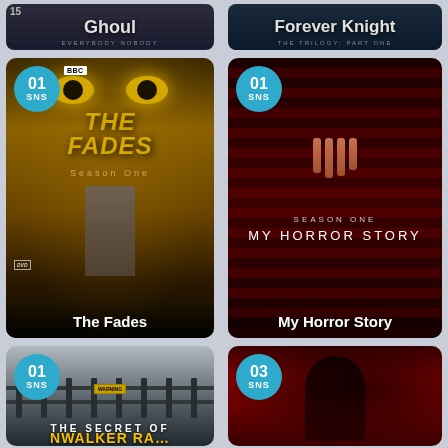[Figure (screenshot): TV show card for Ghoul - dark background with text overlay]
[Figure (screenshot): TV show card for Forever Knight - dark blue background with text overlay]
[Figure (screenshot): TV show card for The Fades Season One - golden eyes monster artwork with BBC logo and SNS badge 01]
[Figure (screenshot): TV show card for My Horror Story Season One - red striped dark background with SNS badge 01]
[Figure (screenshot): TV show card for The Secret of Skinwalker Ranch - fence in foggy field with SNS badge 01]
[Figure (screenshot): TV show card for a zombie show - red background with zombie figure and SNS badge 03]